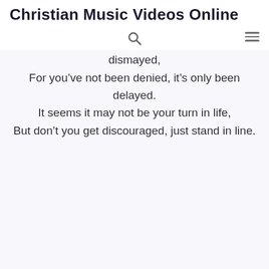Christian Music Videos Online
dismayed,
For you've not been denied, it's only been delayed.
It seems it may not be your turn in life,
But don't you get discouraged, just stand in line.